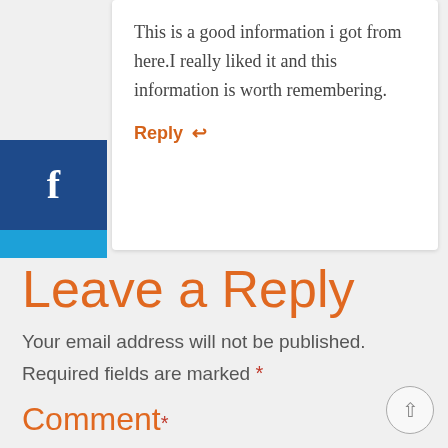This is a good information i got from here.I really liked it and this information is worth remembering.
Reply ↩
[Figure (infographic): Social media share buttons sidebar: Facebook (dark blue), Twitter (light blue), LinkedIn (blue), Pinterest (red)]
Leave a Reply
Your email address will not be published.
Required fields are marked *
Comment*